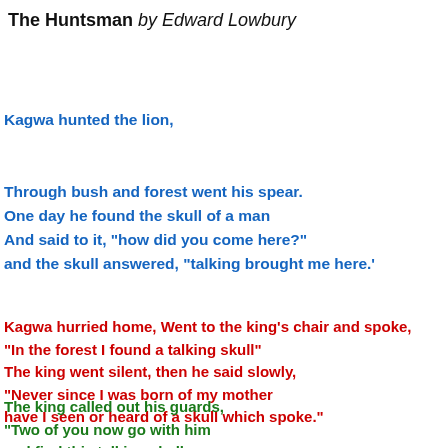The Huntsman by Edward Lowbury
Kagwa hunted the lion,
Through bush and forest went his spear.
One day he found the skull of a man
And said to it, "how did you come here?"
and the skull answered, "talking brought me here.'
Kagwa hurried home, Went to the king's chair and spoke,
"In the forest I found a talking skull"
The king went silent, then he said slowly,
"Never since I was born of my mother
have I seen or heard of a skull which spoke."
The king called out his guards,
"Two of you now go with him
and find this talking skull;
but if his tale is a lie,